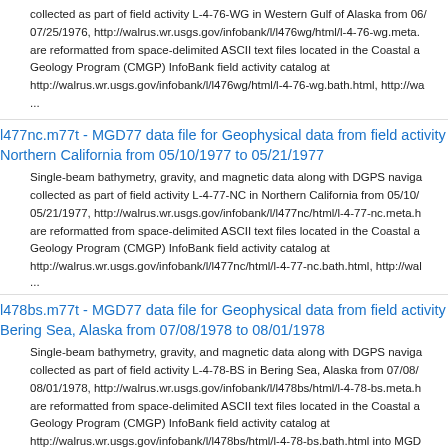collected as part of field activity L-4-76-WG in Western Gulf of Alaska from 06/07/25/1976, http://walrus.wr.usgs.gov/infobank/l/l476wg/html/l-4-76-wg.meta. are reformatted from space-delimited ASCII text files located in the Coastal a Geology Program (CMGP) InfoBank field activity catalog at http://walrus.wr.usgs.gov/infobank/l/l476wg/html/l-4-76-wg.bath.html, http://wa ...
l477nc.m77t - MGD77 data file for Geophysical data from field activity Northern California from 05/10/1977 to 05/21/1977
Single-beam bathymetry, gravity, and magnetic data along with DGPS naviga collected as part of field activity L-4-77-NC in Northern California from 05/10/ 05/21/1977, http://walrus.wr.usgs.gov/infobank/l/l477nc/html/l-4-77-nc.meta.h are reformatted from space-delimited ASCII text files located in the Coastal a Geology Program (CMGP) InfoBank field activity catalog at http://walrus.wr.usgs.gov/infobank/l/l477nc/html/l-4-77-nc.bath.html, http://wal ...
l478bs.m77t - MGD77 data file for Geophysical data from field activity Bering Sea, Alaska from 07/08/1978 to 08/01/1978
Single-beam bathymetry, gravity, and magnetic data along with DGPS naviga collected as part of field activity L-4-78-BS in Bering Sea, Alaska from 07/08/ 08/01/1978, http://walrus.wr.usgs.gov/infobank/l/l478bs/html/l-4-78-bs.meta.h are reformatted from space-delimited ASCII text files located in the Coastal a Geology Program (CMGP) InfoBank field activity catalog at http://walrus.wr.usgs.gov/infobank/l/l478bs/html/l-4-78-bs.bath.html into MGD